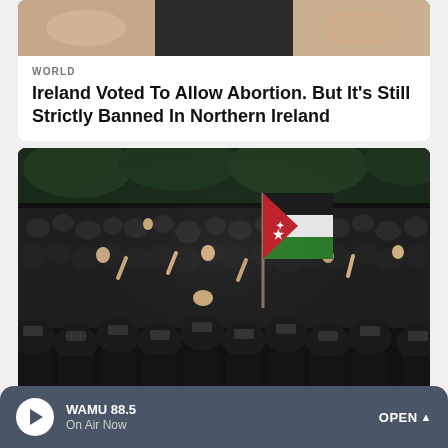[Figure (photo): Partial view of a photo at top of page, cropped]
WORLD
Ireland Voted To Allow Abortion. But It's Still Strictly Banned In Northern Ireland
[Figure (photo): Large crowd of protesters at night with Jordanian flag raised, riot police in foreground]
WORLD
Jordan's Prime Minister Resigns Amid
WAMU 88.5
On Air Now
OPEN